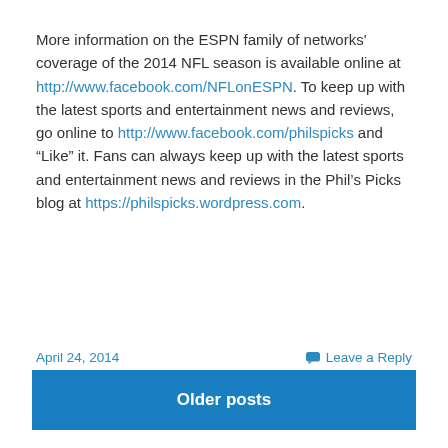More information on the ESPN family of networks' coverage of the 2014 NFL season is available online at http://www.facebook.com/NFLonESPN. To keep up with the latest sports and entertainment news and reviews, go online to http://www.facebook.com/philspicks and “Like” it. Fans can always keep up with the latest sports and entertainment news and reviews in the Phil’s Picks blog at https://philspicks.wordpress.com.
April 24, 2014
Leave a Reply
Older posts